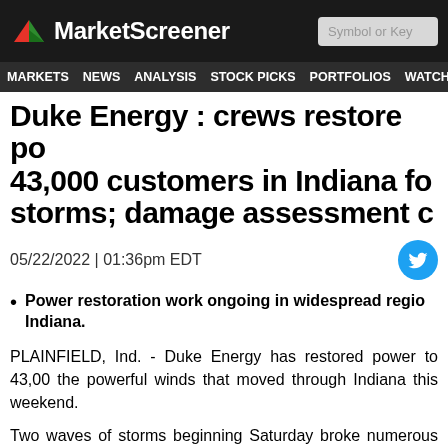MarketScreener
Duke Energy : crews restore po 43,000 customers in Indiana fo storms; damage assessment c
05/22/2022 | 01:36pm EDT
Power restoration work ongoing in widespread regio Indiana.
PLAINFIELD, Ind. - Duke Energy has restored power to 43,00 the powerful winds that moved through Indiana this weekend.
Two waves of storms beginning Saturday broke numerous down power lines, causing power outages for more than 57,0